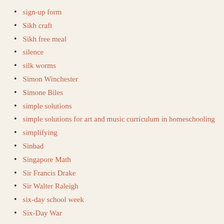sign-up form
Sikh craft
Sikh free meal
silence
silk worms
Simon Winchester
Simone Biles
simple solutions
simple solutions for art and music curriculum in homeschooling
simplifying
Sinbad
Singapore Math
Sir Francis Drake
Sir Walter Raleigh
six-day school week
Six-Day War
Skansen